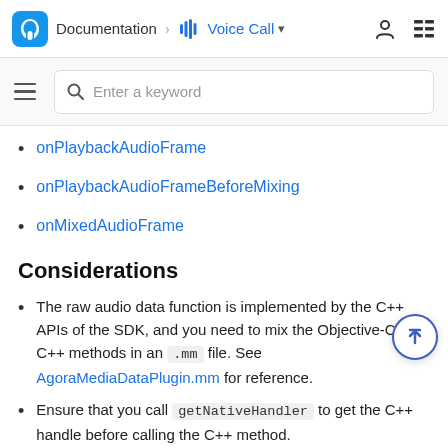Documentation > Voice Call
onPlaybackAudioFrame
onPlaybackAudioFrameBeforeMixing
onMixedAudioFrame
Considerations
The raw audio data function is implemented by the C++ APIs of the SDK, and you need to mix the Objective-C and C++ methods in an .mm file. See AgoraMediaDataPlugin.mm for reference.
Ensure that you call getNativeHandler to get the C++ handle before calling the C++ method.